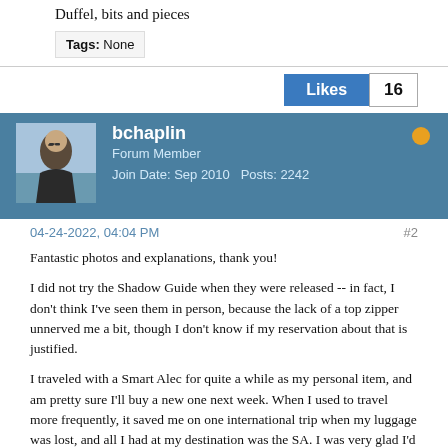Duffel, bits and pieces
Tags: None
Likes 16
bchaplin
Forum Member
Join Date: Sep 2010   Posts: 2242
04-24-2022, 04:04 PM   #2
Fantastic photos and explanations, thank you!

I did not try the Shadow Guide when they were released -- in fact, I don't think I've seen them in person, because the lack of a top zipper unnerved me a bit, though I don't know if my reservation about that is justified.

I traveled with a Smart Alec for quite a while as my personal item, and am pretty sure I'll buy a new one next week. When I used to travel more frequently, it saved me on one international trip when my luggage was lost, and all I had at my destination was the SA. I was very glad I'd